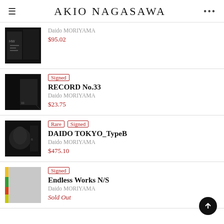AKIO NAGASAWA
Daido MORIYAMA | $95.02
Signed | RECORD No.33 | Daido MORIYAMA | $23.75
Rare Signed | DAIDO TOKYO_TypeB | Daido MORIYAMA | $475.10
Signed | Endless Works N/S | Daido MORIYAMA | Sold Out